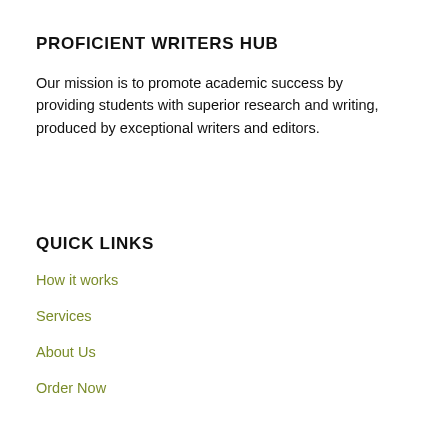PROFICIENT WRITERS HUB
Our mission is to promote academic success by providing students with superior research and writing, produced by exceptional writers and editors.
QUICK LINKS
How it works
Services
About Us
Order Now